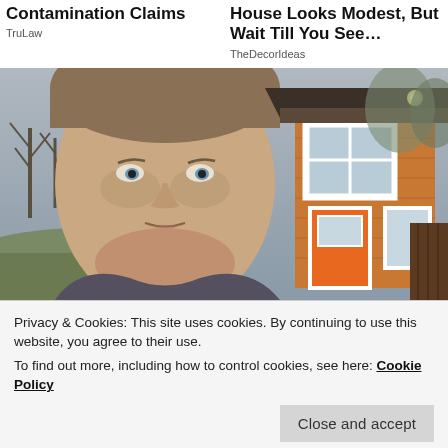Contamination Claims
TruLaw
House Looks Modest, But Wait Till You See…
TheDecorIdeas
[Figure (photo): A young man in the foreground with a small wooden house with an orange door behind him, surrounded by bare trees.]
Privacy & Cookies: This site uses cookies. By continuing to use this website, you agree to their use.
To find out more, including how to control cookies, see here: Cookie Policy
[Figure (photo): Partial view of a nature/outdoor scene at the bottom of the page.]